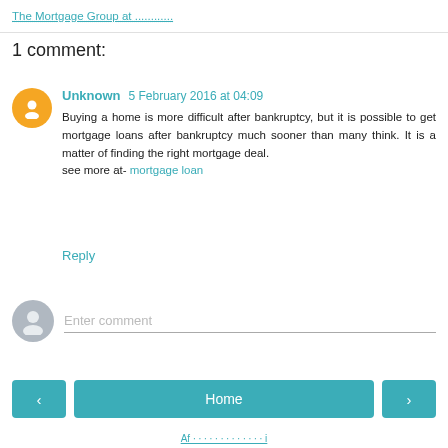The Mortgage Group at ............
1 comment:
Unknown 5 February 2016 at 04:09 — Buying a home is more difficult after bankruptcy, but it is possible to get mortgage loans after bankruptcy much sooner than many think. It is a matter of finding the right mortgage deal. see more at- mortgage loan
Reply
Enter comment
Home